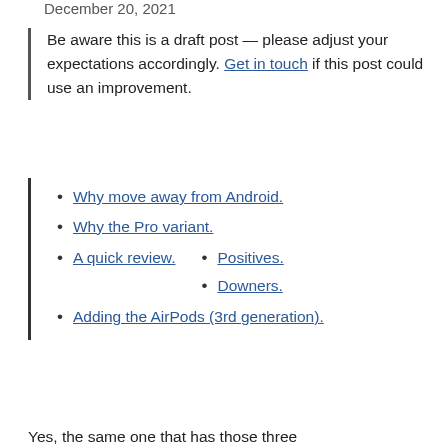December 20, 2021
Be aware this is a draft post — please adjust your expectations accordingly. Get in touch if this post could use an improvement.
Why move away from Android.
Why the Pro variant.
A quick review.
Positives.
Downers.
Adding the AirPods (3rd generation).
Yes, the same one that has those three